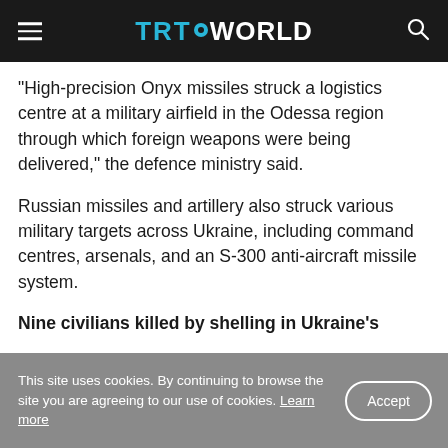TRT WORLD
"High-precision Onyx missiles struck a logistics centre at a military airfield in the Odessa region through which foreign weapons were being delivered," the defence ministry said.
Russian missiles and artillery also struck various military targets across Ukraine, including command centres, arsenals, and an S-300 anti-aircraft missile system.
Nine civilians killed by shelling in Ukraine's
This site uses cookies. By continuing to browse the site you are agreeing to our use of cookies. Learn more